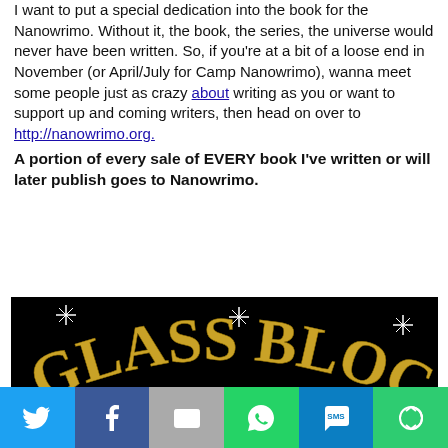I want to put a special dedication into the book for the Nanowrimo. Without it, the book, the series, the universe would never have been written. So, if you're at a bit of a loose end in November (or April/July for Camp Nanowrimo), wanna meet some people just as crazy about writing as you or want to support up and coming writers, then head on over to http://nanowrimo.org. A portion of every sale of EVERY book I've written or will later publish goes to Nanowrimo.
[Figure (photo): Book cover image for 'Glass Block' — gold serif text arced on a black background above a glass block resting on a dark surface with light reflections.]
[Figure (infographic): Social sharing bar with six colored buttons: Twitter (blue bird icon), Facebook (blue f icon), Email (gray envelope icon), WhatsApp (green phone icon), SMS (blue speech bubble icon), More (green circular arrows icon)]